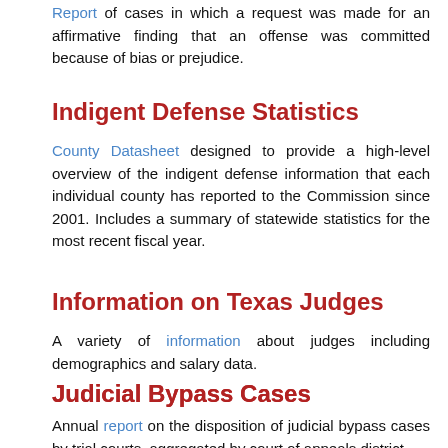Report of cases in which a request was made for an affirmative finding that an offense was committed because of bias or prejudice.
Indigent Defense Statistics
County Datasheet designed to provide a high-level overview of the indigent defense information that each individual county has reported to the Commission since 2001. Includes a summary of statewide statistics for the most recent fiscal year.
Information on Texas Judges
A variety of information about judges including demographics and salary data.
Judicial Bypass Cases
Annual report on the disposition of judicial bypass cases by trial courts, aggregated by court of appeals district.
Jury Charges & Sentences in Capital Cases